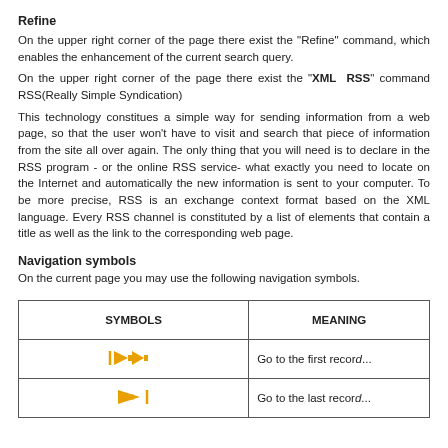Refine
On the upper right corner of the page there exist the "Refine" command, which enables the enhancement of the current search query.
On the upper right corner of the page there exist the "XML RSS" command RSS(Really Simple Syndication)
This technology constitues a simple way for sending information from a web page, so that the user won't have to visit and search that piece of information from the site all over again. The only thing that you will need is to declare in the RSS program - or the online RSS service- what exactly you need to locate on the Internet and automatically the new information is sent to your computer. To be more precise, RSS is an exchange context format based on the XML language. Every RSS channel is constituted by a list of elements that contain a title as well as the link to the corresponding web page.
Navigation symbols
On the current page you may use the following navigation symbols.
| SYMBOLS | MEANING |
| --- | --- |
| [left arrow icons] | Go to the first record... |
| [right arrow icon] | Go to the last record... |